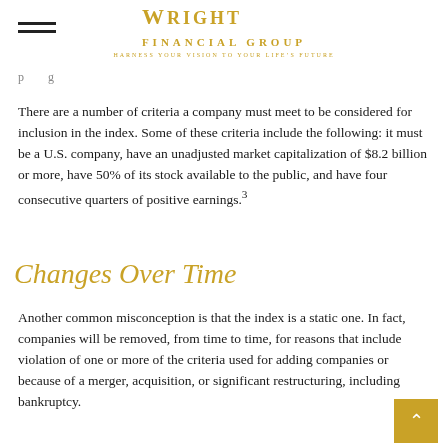Wright Financial Group
There are a number of criteria a company must meet to be considered for inclusion in the index. Some of these criteria include the following: it must be a U.S. company, have an unadjusted market capitalization of $8.2 billion or more, have 50% of its stock available to the public, and have four consecutive quarters of positive earnings.3
Changes Over Time
Another common misconception is that the index is a static one. In fact, companies will be removed, from time to time, for reasons that include violation of one or more of the criteria used for adding companies or because of a merger, acquisition, or significant restructuring, including bankruptcy.